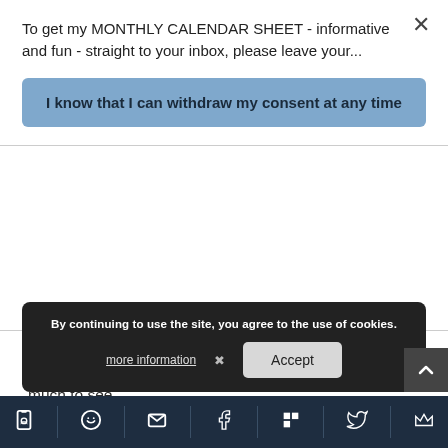To get my MONTHLY CALENDAR SHEET - informative and fun - straight to your inbox, please leave your...
I know that I can withdraw my consent at any time
planning your activities in neighboring parts of the city will save you lots of time – and you will need it, there is much to see.
By continuing to use the site, you agree to the use of cookies.
more information
Accept